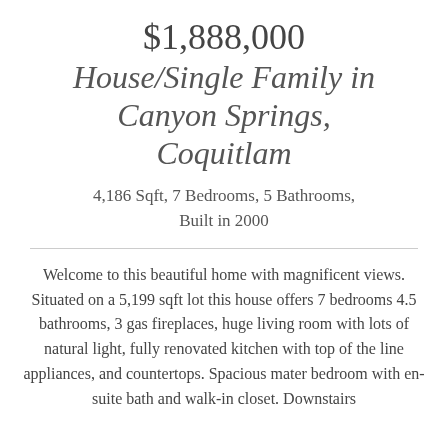$1,888,000 House/Single Family in Canyon Springs, Coquitlam
4,186 Sqft, 7 Bedrooms, 5 Bathrooms, Built in 2000
Welcome to this beautiful home with magnificent views. Situated on a 5,199 sqft lot this house offers 7 bedrooms 4.5 bathrooms, 3 gas fireplaces, huge living room with lots of natural light, fully renovated kitchen with top of the line appliances, and countertops. Spacious mater bedroom with en-suite bath and walk-in closet. Downstairs